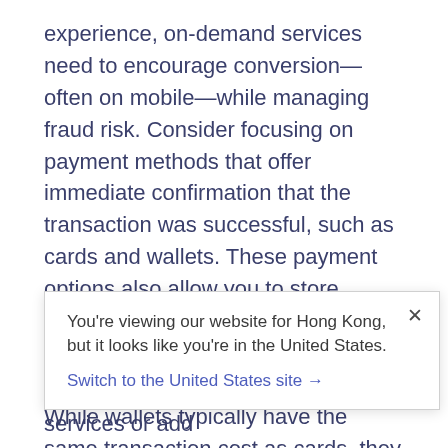experience, on-demand services need to encourage conversion—often on mobile—while managing fraud risk. Consider focusing on payment methods that offer immediate confirmation that the transaction was successful, such as cards and wallets. These payment options also allow you to store customer payment details on file and enable one-tap confirmations, shortening the checkout experience. While wallets typically have the same transaction cost as cards, they are more secure since authentication is required to complete payment,
You're viewing our website for Hong Kong, but it looks like you're in the United States.
Switch to the United States site →
and preferred to pay for on-demand services or add